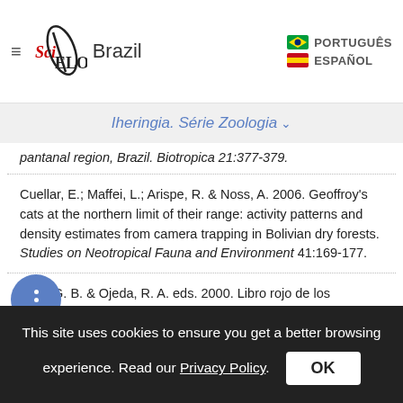[Figure (logo): SciELO Brazil logo with hamburger menu and language options (PORTUGUÊS, ESPAÑOL)]
Iheringia. Série Zoologia ▾
pantanal region, Brazil. Biotropica 21:377-379.
Cuellar, E.; Maffei, L.; Arispe, R. & Noss, A. 2006. Geoffroy's cats at the northern limit of their range: activity patterns and density estimates from camera trapping in Bolivian dry forests. Studies on Neotropical Fauna and Environment 41:169-177.
Diaz, G. B. & Ojeda, R. A. eds. 2000. Libro rojo de los mamiferos amenazados de la Argentina. Mendoza, SAREM (Sociedad Argentina para el Estudio de los Mamiferos).
This site uses cookies to ensure you get a better browsing experience. Read our Privacy Policy. OK